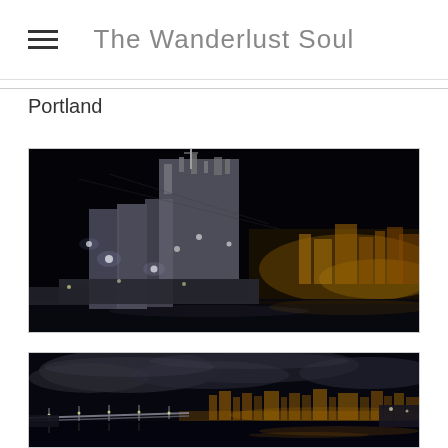The Wanderlust Soul
Portland
[Figure (photo): Night photograph of an industrial facility, likely a grain elevator or factory, with heavy machinery and structures illuminated against a dark sky. City lights and skyline visible in the background.]
[Figure (photo): Night panoramic photograph of Portland cityscape showing a bridge, city lights, and waterfront reflected in the river with dramatic cloudy sky.]